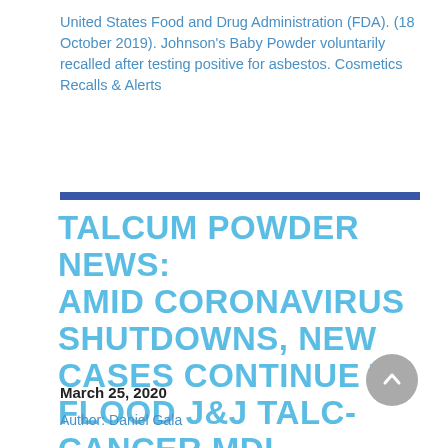United States Food and Drug Administration (FDA). (18 October 2019). Johnson's Baby Powder voluntarily recalled after testing positive for asbestos. Cosmetics Recalls & Alerts
TALCUM POWDER NEWS: AMID CORONAVIRUS SHUTDOWNS, NEW CASES CONTINUE TO FLOOD J&J TALC-CANCER MDL
March 25, 2020
Author: Daniel Gala